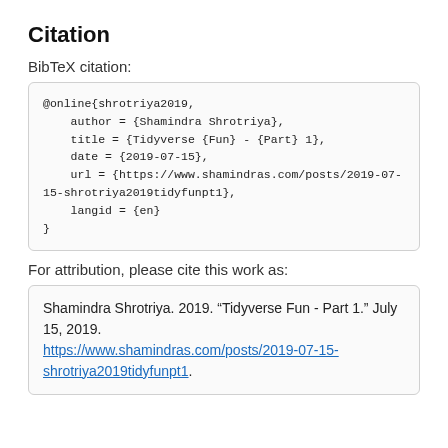Citation
BibTeX citation:
@online{shrotriya2019,
    author = {Shamindra Shrotriya},
    title = {Tidyverse {Fun} - {Part} 1},
    date = {2019-07-15},
    url = {https://www.shamindras.com/posts/2019-07-15-shrotriya2019tidyfunpt1},
    langid = {en}
}
For attribution, please cite this work as:
Shamindra Shrotriya. 2019. “Tidyverse Fun - Part 1.” July 15, 2019. https://www.shamindras.com/posts/2019-07-15-shrotriya2019tidyfunpt1.